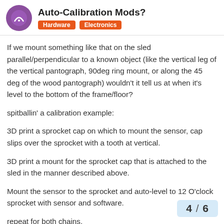Auto-Calibration Mods? — Hardware | Electronics
If we mount something like that on the sled parallel/perpendicular to a known object (like the vertical leg of the vertical pantograph, 90deg ring mount, or along the 45 deg of the wood pantograph) wouldn't it tell us at when it's level to the bottom of the frame/floor?
spitballin' a calibration example:
3D print a sprocket cap on which to mount the sensor, cap slips over the sprocket with a tooth at vertical.
3D print a mount for the sprocket cap that is attached to the sled in the manner described above.
Mount the sensor to the sprocket and auto-level to 12 O'clock sprocket with sensor and software.
repeat for both chains.
Remove sprocket cap and place on sled m
4 / 6